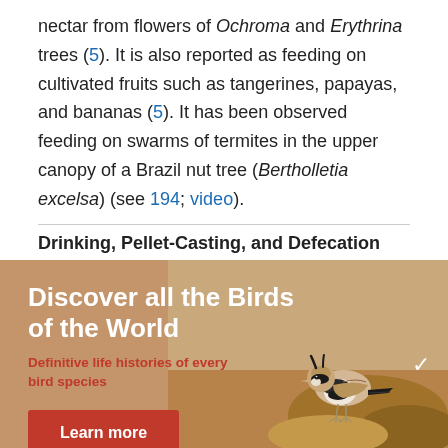nectar from flowers of Ochroma and Erythrina trees (5). It is also reported as feeding on cultivated fruits such as tangerines, papayas, and bananas (5). It has been observed feeding on swarms of termites in the upper canopy of a Brazil nut tree (Bertholletia excelsa) (see 194; video).
Drinking, Pellet-Casting, and Defecation
[Figure (photo): Promotional banner with tan/brown background showing a horned lark bird perched on rocky ground. Text overlay: 'Discover all the Birds of the World' and 'Definitive life histories of every bird species' with a red 'Learn more' button. Photo credit: Daniel Pettersson/Macaulay Library.]